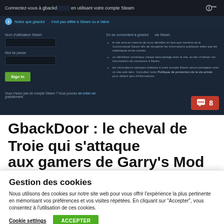[Figure (screenshot): Screenshot of a Steam login page for gbackdoor, with French text. Shows login fields, a sign-in button, and information about Steam connection. A red comment badge with '8' appears in the bottom right.]
GbackDoor : le cheval de Troie qui s'attaque aux gamers de Garry's Mod
Gestion des cookies
Nous utilisons des cookies sur notre site web pour vous offrir l'expérience la plus pertinente en mémorisant vos préférences et vos visites répétées. En cliquant sur "Accepter", vous consentez à l'utilisation de ces cookies.
Cookie settings   ACCEPTER